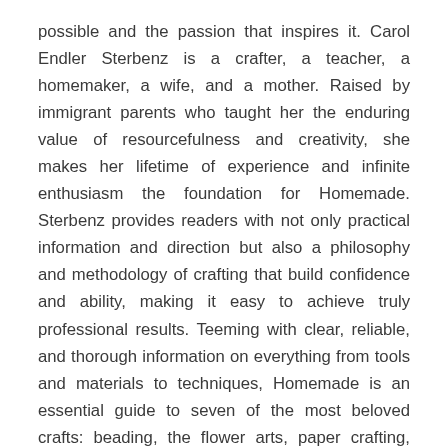possible and the passion that inspires it. Carol Endler Sterbenz is a crafter, a teacher, a homemaker, a wife, and a mother. Raised by immigrant parents who taught her the enduring value of resourcefulness and creativity, she makes her lifetime of experience and infinite enthusiasm the foundation for Homemade. Sterbenz provides readers with not only practical information and direction but also a philosophy and methodology of crafting that build confidence and ability, making it easy to achieve truly professional results. Teeming with clear, reliable, and thorough information on everything from tools and materials to techniques, Homemade is an essential guide to seven of the most beloved crafts: beading, the flower arts, paper crafting, hand printing, decoupage, decorative embellishing, and children's arts and crafts. Crafters—beginners